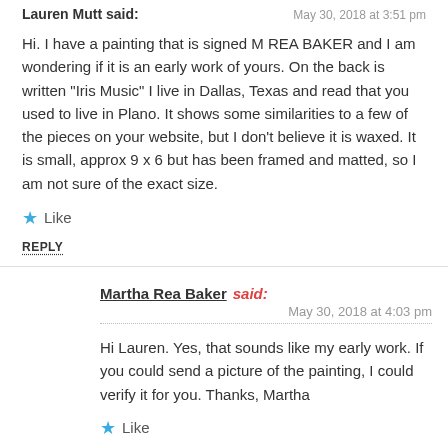Lauren Mutt said:  May 30, 2018 at 3:51 pm
Hi. I have a painting that is signed M REA BAKER and I am wondering if it is an early work of yours. On the back is written "Iris Music" I live in Dallas, Texas and read that you used to live in Plano. It shows some similarities to a few of the pieces on your website, but I don't believe it is waxed. It is small, approx 9 x 6 but has been framed and matted, so I am not sure of the exact size.
Like
REPLY
Martha Rea Baker said:  May 30, 2018 at 4:03 pm
Hi Lauren. Yes, that sounds like my early work. If you could send a picture of the painting, I could verify it for you. Thanks, Martha
Like